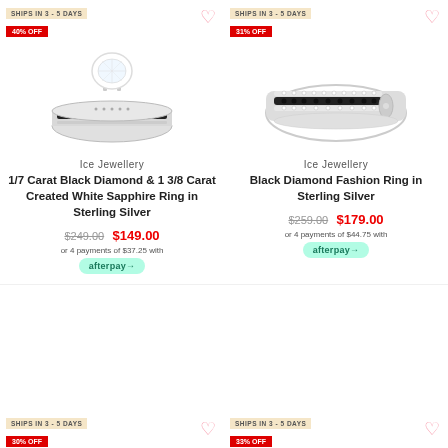[Figure (photo): Diamond and white sapphire ring in sterling silver, product photo on white background]
SHIPS IN 3 - 5 DAYS
40% OFF
Ice Jewellery
1/7 Carat Black Diamond & 1 3/8 Carat Created White Sapphire Ring in Sterling Silver
$249.00  $149.00
or 4 payments of $37.25 with afterpay
[Figure (photo): Black diamond fashion ring in sterling silver, product photo on white background]
SHIPS IN 3 - 5 DAYS
31% OFF
Ice Jewellery
Black Diamond Fashion Ring in Sterling Silver
$259.00  $179.00
or 4 payments of $44.75 with afterpay
SHIPS IN 3 - 5 DAYS
30% OFF
SHIPS IN 3 - 5 DAYS
33% OFF